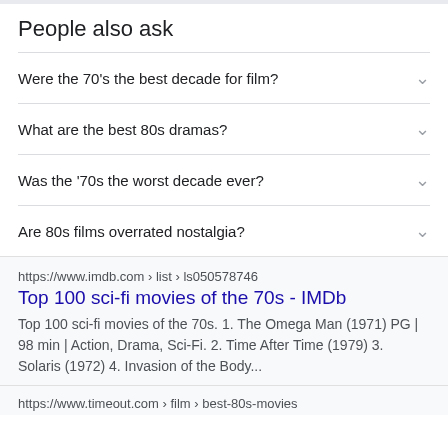People also ask
Were the 70's the best decade for film?
What are the best 80s dramas?
Was the '70s the worst decade ever?
Are 80s films overrated nostalgia?
https://www.imdb.com › list › ls050578746
Top 100 sci-fi movies of the 70s - IMDb
Top 100 sci-fi movies of the 70s. 1. The Omega Man (1971) PG | 98 min | Action, Drama, Sci-Fi. 2. Time After Time (1979) 3. Solaris (1972) 4. Invasion of the Body...
https://www.timeout.com › film › best-80s-movies